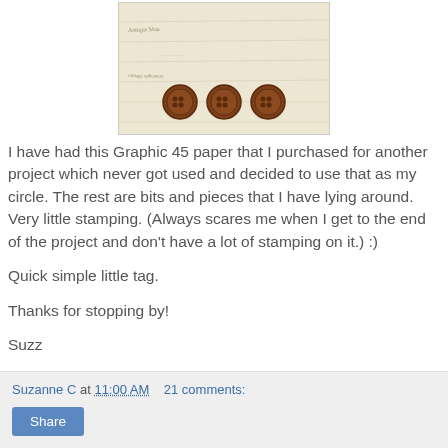[Figure (photo): Photo of a decorative paper tag with brown buttons on a vintage/map patterned background]
I have had this Graphic 45 paper that I purchased for another project which never got used and decided to use that as my circle. The rest are bits and pieces that I have lying around. Very little stamping. (Always scares me when I get to the end of the project and don't have a lot of stamping on it.) :)
Quick simple little tag.
Thanks for stopping by!
Suzz
Suzanne C at 11:00 AM   21 comments:   Share